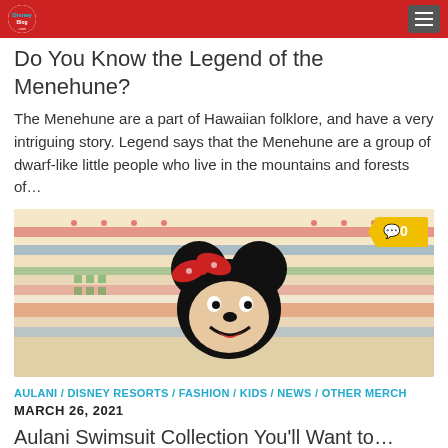Disney Blog
Do You Know the Legend of the Menehune?
The Menehune are a part of Hawaiian folklore, and have a very intriguing story. Legend says that the Menehune are a group of dwarf-like little people who live in the mountains and forests of...
[Figure (photo): Photo of a Mickey and Minnie Mouse patterned sweater/shirt with colorful stripes and patterns, displayed on a hanger. A comment badge showing '0' appears in the top right corner.]
AULANI / DISNEY RESORTS / FASHION / KIDS / NEWS / OTHER MERCH
MARCH 26, 2021
Aulani Swimsuit Collection You'll Want to...